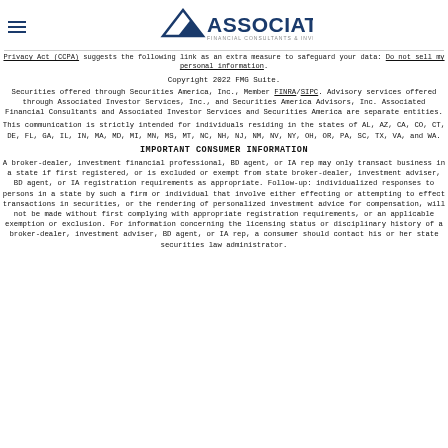[Figure (logo): Associated Financial Consultants & Investor Services logo with triangle/mountain icon and company name]
Privacy Act (CCPA) suggests the following link as an extra measure to safeguard your data: Do not sell my personal information.
Copyright 2022 FMG Suite.
Securities offered through Securities America, Inc., Member FINRA/SIPC. Advisory services offered through Associated Investor Services, Inc., and Securities America Advisors, Inc. Associated Financial Consultants and Associated Investor Services and Securities America are separate entities.
This communication is strictly intended for individuals residing in the states of AL, AZ, CA, CO, CT, DE, FL, GA, IL, IN, MA, MD, MI, MN, MS, MT, NC, NH, NJ, NM, NV, NY, OH, OR, PA, SC, TX, VA, and WA.
IMPORTANT CONSUMER INFORMATION
A broker-dealer, investment financial professional, BD agent, or IA rep may only transact business in a state if first registered, or is excluded or exempt from state broker-dealer, investment adviser, BD agent, or IA registration requirements as appropriate. Follow-up: individualized responses to persons in a state by such a firm or individual that involve either effecting or attempting to effect transactions in securities, or the rendering of personalized investment advice for compensation, will not be made without first complying with appropriate registration requirements, or an applicable exemption or exclusion. For information concerning the licensing status or disciplinary history of a broker-dealer, investment adviser, BD agent, or IA rep, a consumer should contact his or her state securities law administrator.